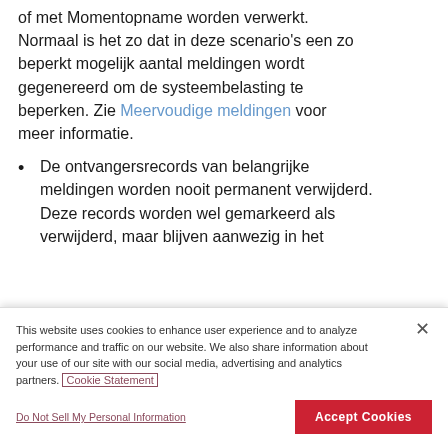of met Momentopname worden verwerkt. Normaal is het zo dat in deze scenario's een zo beperkt mogelijk aantal meldingen wordt gegenereerd om de systeembelasting te beperken. Zie Meervoudige meldingen voor meer informatie.
De ontvangersrecords van belangrijke meldingen worden nooit permanent verwijderd. Deze records worden wel gemarkeerd als verwijderd, maar blijven aanwezig in het
This website uses cookies to enhance user experience and to analyze performance and traffic on our website. We also share information about your use of our site with our social media, advertising and analytics partners. Cookie Statement
Do Not Sell My Personal Information
Accept Cookies